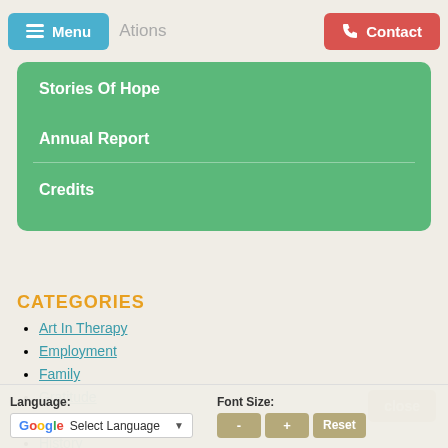Menu   Ations   Contact
Stories Of Hope
Annual Report
Credits
CATEGORIES
Art In Therapy
Employment
Family
Gratitude
Health & Wellness
History
close
Language: Select Language ▼   Font Size: - + Reset